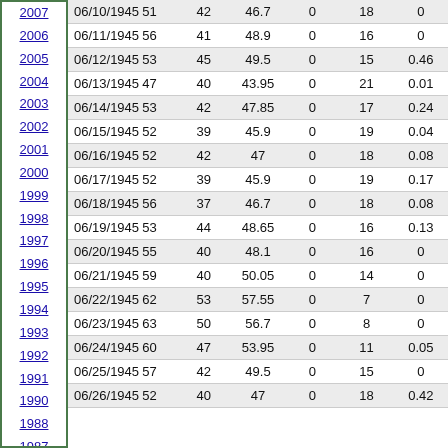| Year/Date | Date | High | Low | Avg | Col5 | Col6 | Precip |
| --- | --- | --- | --- | --- | --- | --- | --- |
| 2007 | 06/10/1945 | 51 | 42 | 46.7 | 0 | 18 | 0 |
| 2006 | 06/11/1945 | 56 | 41 | 48.9 | 0 | 16 | 0 |
| 2005 | 06/12/1945 | 53 | 45 | 49.5 | 0 | 15 | 0.46 |
| 2004 | 06/13/1945 | 47 | 40 | 43.95 | 0 | 21 | 0.01 |
| 2003 | 06/14/1945 | 53 | 42 | 47.85 | 0 | 17 | 0.24 |
| 2002 | 06/15/1945 | 52 | 39 | 45.9 | 0 | 19 | 0.04 |
| 2001 | 06/16/1945 | 52 | 42 | 47 | 0 | 18 | 0.08 |
| 2000 | 06/17/1945 | 52 | 39 | 45.9 | 0 | 19 | 0.17 |
| 1999 | 06/18/1945 | 56 | 37 | 46.7 | 0 | 18 | 0.08 |
| 1998 | 06/19/1945 | 53 | 44 | 48.65 | 0 | 16 | 0.13 |
| 1997 | 06/20/1945 | 55 | 40 | 48.1 | 0 | 16 | 0 |
| 1996 | 06/21/1945 | 59 | 40 | 50.05 | 0 | 14 | 0 |
| 1995 | 06/22/1945 | 62 | 53 | 57.55 | 0 | 7 | 0 |
| 1994 | 06/23/1945 | 63 | 50 | 56.7 | 0 | 8 | 0 |
| 1993 | 06/24/1945 | 60 | 47 | 53.95 | 0 | 11 | 0.05 |
| 1992 | 06/25/1945 | 57 | 42 | 49.5 | 0 | 15 | 0 |
| 1991 | 06/26/1945 | 52 | 40 | 47 | 0 | 18 | 0.42 |